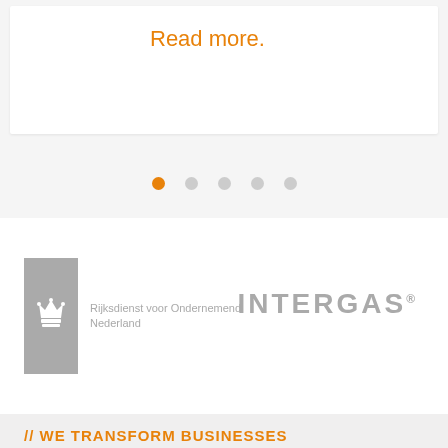Read more.
[Figure (infographic): Carousel pagination dots: one orange filled dot followed by four grey dots]
[Figure (logo): Rijksdienst voor Ondernemend Nederland (RVO) logo — grey badge with crown emblem and text]
[Figure (logo): INTERGAS logo in grey bold spaced capitals]
// WE TRANSFORM BUSINESSES